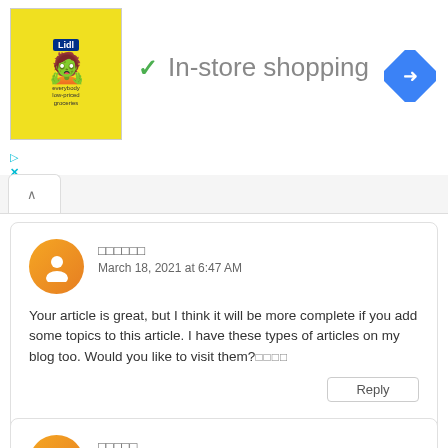[Figure (logo): Lidl ad with yellow background showing grocery items]
✓ In-store shopping
[Figure (illustration): Blue diamond navigation/direction icon]
▲ (tab/navigation chevron)
□□□□□□  March 18, 2021 at 6:47 AM  Your article is great, but I think it will be more complete if you add some topics to this article. I have these types of articles on my blog too. Would you like to visit them?□□□□  Reply
□□□□□  March 18, 2021 at 11:44 PM